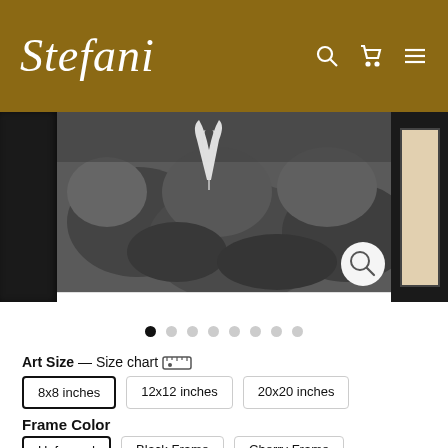Stefani
[Figure (photo): Black and white photograph of rocks/stones with a white feather or flower element, displayed in a gallery-style carousel with framed art on left and right sides. A magnifying glass zoom icon is visible in the lower right of the center image.]
Art Size — Size chart [ruler icon]
8x8 inches  12x12 inches  20x20 inches
Frame Color
Unframed  Black Frame  Cherry Frame